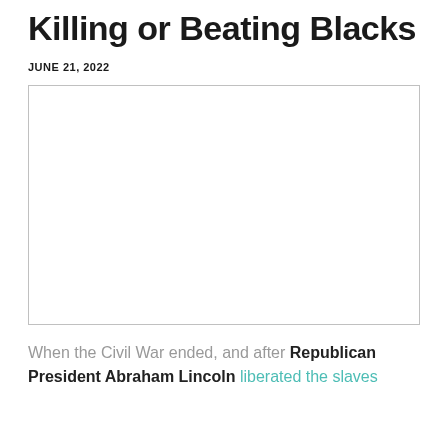Killing or Beating Blacks
JUNE 21, 2022
[Figure (photo): Empty white rectangular image placeholder with light gray border]
When the Civil War ended, and after Republican President Abraham Lincoln liberated the slaves